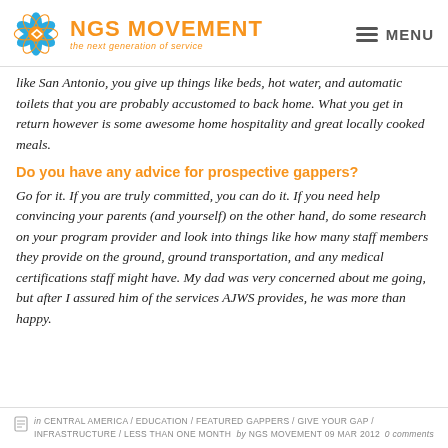NGS MOVEMENT — the next generation of service
like San Antonio, you give up things like beds, hot water, and automatic toilets that you are probably accustomed to back home. What you get in return however is some awesome home hospitality and great locally cooked meals.
Do you have any advice for prospective gappers?
Go for it. If you are truly committed, you can do it. If you need help convincing your parents (and yourself) on the other hand, do some research on your program provider and look into things like how many staff members they provide on the ground, ground transportation, and any medical certifications staff might have. My dad was very concerned about me going, but after I assured him of the services AJWS provides, he was more than happy.
in CENTRAL AMERICA / EDUCATION / FEATURED GAPPERS / GIVE YOUR GAP / INFRASTRUCTURE / LESS THAN ONE MONTH  by NGS MOVEMENT 09 MAR 2012   0 comments